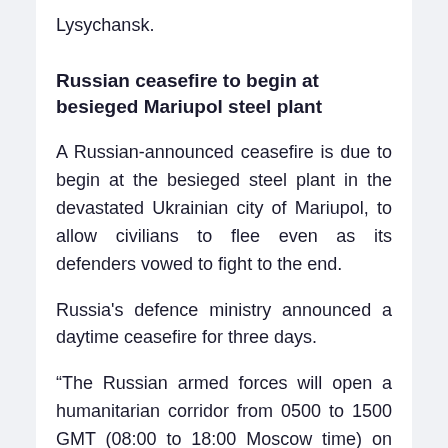Lysychansk.
Russian ceasefire to begin at besieged Mariupol steel plant
A Russian-announced ceasefire is due to begin at the besieged steel plant in the devastated Ukrainian city of Mariupol, to allow civilians to flee even as its defenders vowed to fight to the end.
Russia's defence ministry announced a daytime ceasefire for three days.
“The Russian armed forces will open a humanitarian corridor from 0500 to 1500 GMT (08:00 to 18:00 Moscow time) on May 5, 6 and 7 from the site of the Azovstal…